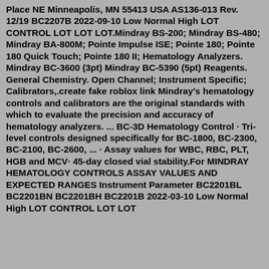Place NE Minneapolis, MN 55413 USA AS136-013 Rev. 12/19 BC2207B 2022-09-10 Low Normal High LOT CONTROL LOT LOT LOT.Mindray BS-200; Mindray BS-480; Mindray BA-800M; Pointe Impulse ISE; Pointe 180; Pointe 180 Quick Touch; Pointe 180 II; Hematology Analyzers. Mindray BC-3600 (3pt) Mindray BC-5390 (5pt) Reagents. General Chemistry. Open Channel; Instrument Specific; Calibrators,.create fake roblox link Mindray's hematology controls and calibrators are the original standards with which to evaluate the precision and accuracy of hematology analyzers. ... BC-3D Hematology Control · Tri-level controls designed specifically for BC-1800, BC-2300, BC-2100, BC-2600, ... · Assay values for WBC, RBC, PLT, HGB and MCV· 45-day closed vial stability.For MINDRAY HEMATOLOGY CONTROLS ASSAY VALUES AND EXPECTED RANGES Instrument Parameter BC2201BL BC2201BN BC2201BH BC2201B 2022-03-10 Low Normal High LOT CONTROL LOT LOT LOT BC DS-5Nos. Rev. 1Mindray hematology controls are